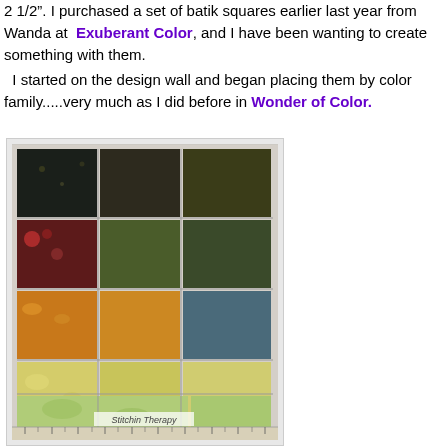2 1/2". I purchased a set of batik squares earlier last year from Wanda at Exuberant Color, and I have been wanting to create something with them. I started on the design wall and began placing them by color family.....very much as I did before in Wonder of Color.
[Figure (photo): Photo of batik fabric squares arranged on a design wall/cutting mat, organized by color family from dark (black, brown, green) at top to light yellow-green at bottom. Watermark reads 'Stitchin Therapy'.]